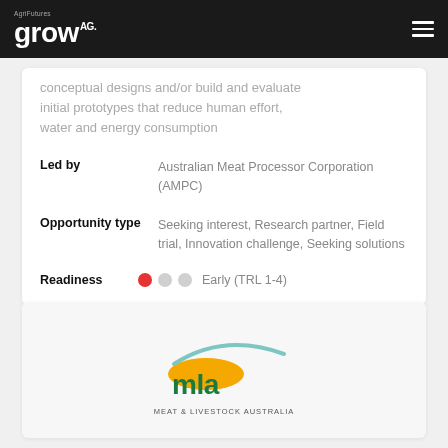AgriFutures grow AG
conceptual designs and/or build and evaluate initial prototypes that reduce human effort, water and energy consumption
Led by: Australian Meat Processor Corporation (AMPC)
Opportunity type: Seeking interest, Research partner, Field trial, Innovation challenge, Seeking solutions
Readiness: Early (TRL 1-4)
[Figure (logo): MLA Meat & Livestock Australia logo — gold arc/hill shape with teal swoosh above green bold 'mla' text, subtitle 'MEAT & LIVESTOCK AUSTRALIA']